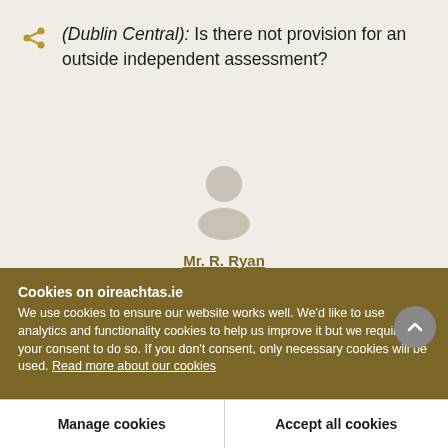(Dublin Central): Is there not provision for an outside independent assessment?
[Figure (illustration): Generic person placeholder avatar icon (grey silhouette of head and shoulders)]
Mr. R. Ryan
Cookies on oireachtas.ie
We use cookies to ensure our website works well. We'd like to use analytics and functionality cookies to help us improve it but we require your consent to do so. If you don't consent, only necessary cookies will be used. Read more about our cookies
Manage cookies
Accept all cookies